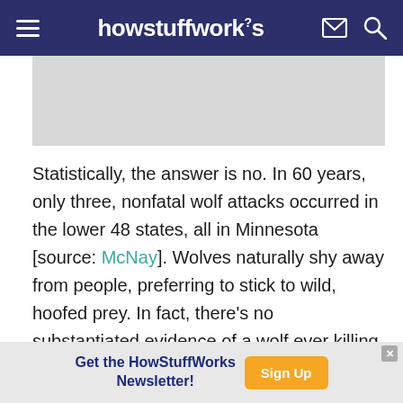howstuffworks
[Figure (other): Gray advertisement placeholder box]
Statistically, the answer is no. In 60 years, only three, nonfatal wolf attacks occurred in the lower 48 states, all in Minnesota [source: McNay]. Wolves naturally shy away from people, preferring to stick to wild, hoofed prey. In fact, there's no substantiated evidence of a wolf ever killing a human in North America, even though tens of thousands inhabit different areas across the continent [source: Busch].
[Figure (other): Get the HowStuffWorks Newsletter! Sign Up banner advertisement]